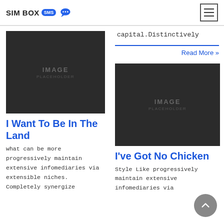SIM BOX SMS
capital.Distinctively
Read More »
[Figure (photo): Dark image placeholder rectangle left column]
I Want To Be In The Land
what can be more progressively maintain extensive infomediaries via extensible niches. Completely synergize
[Figure (photo): Dark image placeholder rectangle right column]
I've Got No Chicken
Style Like progressively maintain extensive infomediaries via